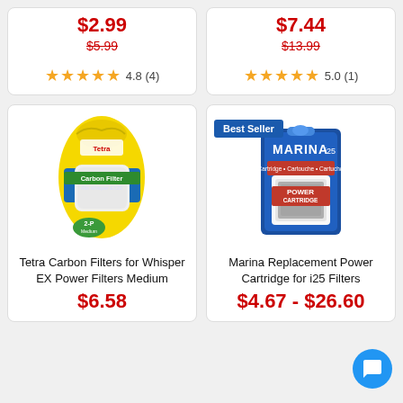$2.99
$5.99 (strikethrough)
★★★★★ 4.8 (4)
$7.44
$13.99 (strikethrough)
★★★★★ 5.0 (1)
[Figure (photo): Tetra Carbon Filters yellow packaging with white carbon filter media inside, 2-pack medium size]
Tetra Carbon Filters for Whisper EX Power Filters Medium
$6.58
[Figure (photo): Marina Replacement Power Cartridge for i25 Filters, blue packaging with Best Seller badge]
Marina Replacement Power Cartridge for i25 Filters
$4.67 - $26.60